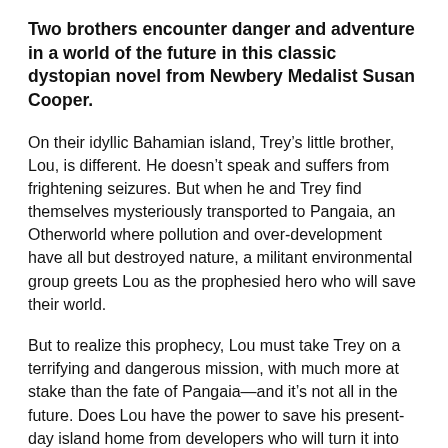Two brothers encounter danger and adventure in a world of the future in this classic dystopian novel from Newbery Medalist Susan Cooper.
On their idyllic Bahamian island, Trey’s little brother, Lou, is different. He doesn’t speak and suffers from frightening seizures. But when he and Trey find themselves mysteriously transported to Pangaia, an Otherworld where pollution and over-development have all but destroyed nature, a militant environmental group greets Lou as the prophesied hero who will save their world.
But to realize this prophecy, Lou must take Trey on a terrifying and dangerous mission, with much more at stake than the fate of Pangaia—and it’s not all in the future. Does Lou have the power to save his present-day island home from developers who will turn it into their own version of Pangaia?